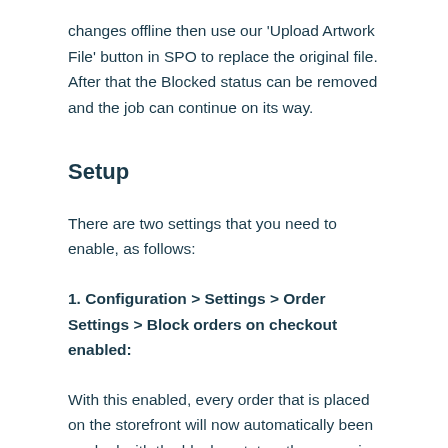changes offline then use our 'Upload Artwork File' button in SPO to replace the original file. After that the Blocked status can be removed and the job can continue on its way.
Setup
There are two settings that you need to enable, as follows:
1. Configuration > Settings > Order Settings > Block orders on checkout enabled:
With this enabled, every order that is placed on the storefront will now automatically been marked with the blocker status, thus ensuring that nothing is